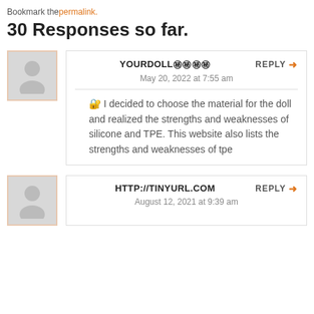Bookmark the permalink.
30 Responses so far.
YOURDOLL㊙㊙㊙㊙ REPLY ➜ May 20, 2022 at 7:55 am — 🔐 I decided to choose the material for the doll and realized the strengths and weaknesses of silicone and TPE. This website also lists the strengths and weaknesses of tpe
HTTP://TINYURL.COM REPLY ➜ August 12, 2021 at 9:39 am